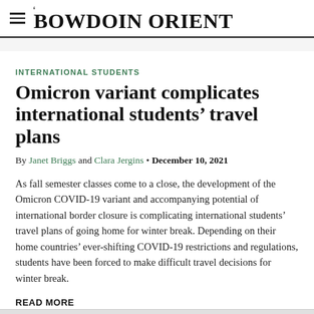THE BOWDOIN ORIENT
INTERNATIONAL STUDENTS
Omicron variant complicates international students' travel plans
By Janet Briggs and Clara Jergins • December 10, 2021
As fall semester classes come to a close, the development of the Omicron COVID-19 variant and accompanying potential of international border closure is complicating international students' travel plans of going home for winter break. Depending on their home countries' ever-shifting COVID-19 restrictions and regulations, students have been forced to make difficult travel decisions for winter break.
READ MORE